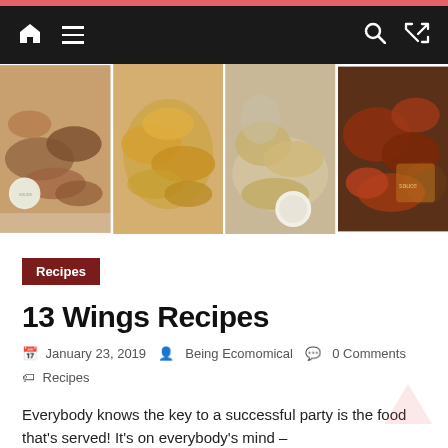Navigation bar with home icon, menu icon, search icon, shuffle icon
[Figure (photo): Collage of four food photos showing various chicken wing recipes on plates]
Recipes
13 Wings Recipes
January 23, 2019  Being Ecomomical  0 Comments  Recipes
Everybody knows the key to a successful party is the food that's served! It's on everybody's mind –